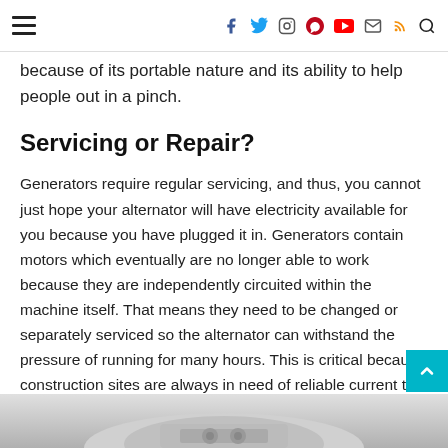Navigation and social media icons header
because of its portable nature and its ability to help people out in a pinch.
Servicing or Repair?
Generators require regular servicing, and thus, you cannot just hope your alternator will have electricity available for you because you have plugged it in. Generators contain motors which eventually are no longer able to work because they are independently circuited within the machine itself. That means they need to be changed or separately serviced so the alternator can withstand the pressure of running for many hours. This is critical because construction sites are always in need of reliable current that can be remotely monitored and improved should there be any issues with the charge.
[Figure (photo): Bottom portion of a photo, partially visible, showing what appears to be mechanical/generator equipment in black and white tones]